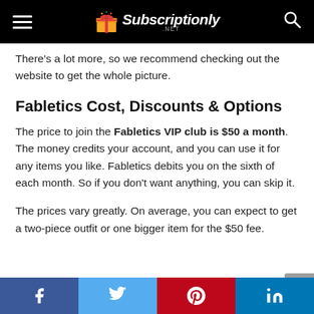Subscriptionly.net — navigation header with logo, hamburger menu, and search icon
There's a lot more, so we recommend checking out the website to get the whole picture.
Fabletics Cost, Discounts & Options
The price to join the Fabletics VIP club is $50 a month. The money credits your account, and you can use it for any items you like. Fabletics debits you on the sixth of each month. So if you don't want anything, you can skip it.
The prices vary greatly. On average, you can expect to get a two-piece outfit or one bigger item for the $50 fee.
Social share bar: Facebook, Twitter, Pinterest, LinkedIn